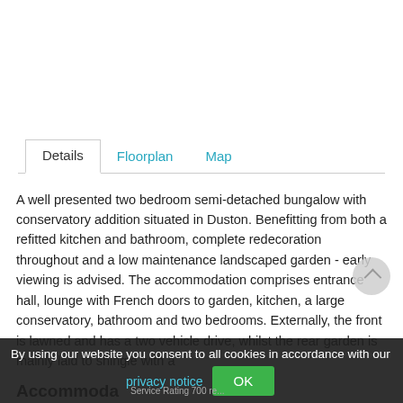[Figure (other): White image area at top of page (photo placeholder)]
Details | Floorplan | Map (tab navigation)
A well presented two bedroom semi-detached bungalow with conservatory addition situated in Duston. Benefitting from both a refitted kitchen and bathroom, complete redecoration throughout and a low maintenance landscaped garden - early viewing is advised. The accommodation comprises entrance hall, lounge with French doors to garden, kitchen, a large conservatory, bathroom and two bedrooms. Externally, the front is lawned and has a two vehicle drive, whilst the rear garden is mainly laid to shingle with a border. EPC: C Council Tax Band: B...
Accommoda...
By using our website you consent to all cookies in accordance with our privacy notice OK